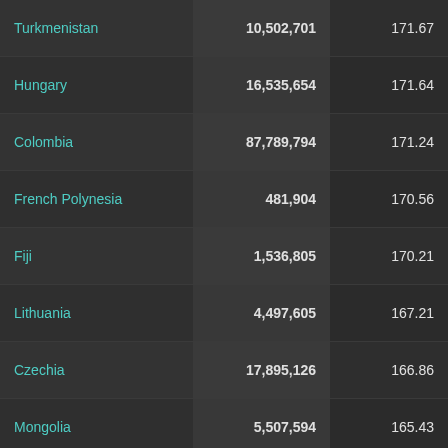| Turkmenistan | 10,502,701 | 171.67 |
| Hungary | 16,535,654 | 171.64 |
| Colombia | 87,789,794 | 171.24 |
| French Polynesia | 481,904 | 170.56 |
| Fiji | 1,536,805 | 170.21 |
| Lithuania | 4,497,605 | 167.21 |
| Czechia | 17,895,126 | 166.86 |
| Mongolia | 5,507,594 | 165.43 |
| Belarus | 15,256,762 | 161.57 |
| Mexico | 209,673,612 | 160.96 |
| New Caledonia | 463,687 | 160.88 |